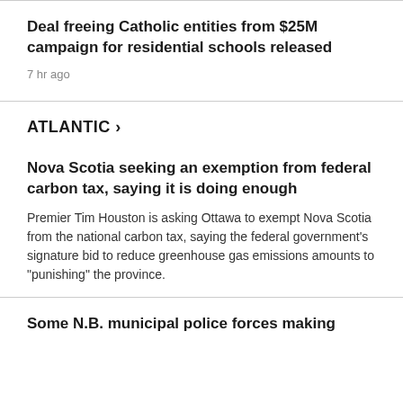Deal freeing Catholic entities from $25M campaign for residential schools released
7 hr ago
ATLANTIC >
Nova Scotia seeking an exemption from federal carbon tax, saying it is doing enough
Premier Tim Houston is asking Ottawa to exempt Nova Scotia from the national carbon tax, saying the federal government's signature bid to reduce greenhouse gas emissions amounts to "punishing" the province.
Some N.B. municipal police forces making